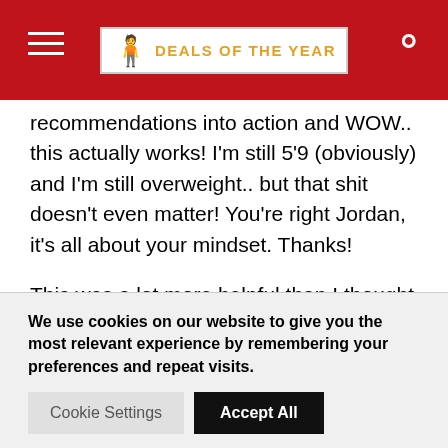DEALS OF THE YEAR
recommendations into action and WOW.. this actually works! I'm still 5'9 (obviously) and I'm still overweight.. but that shit doesn't even matter! You're right Jordan, it's all about your mindset. Thanks!
This was a lot more helpful than I thought it would be. I went out the following weekend after reading the guide and had girls all over me. This really works!
We use cookies on our website to give you the most relevant experience by remembering your preferences and repeat visits.